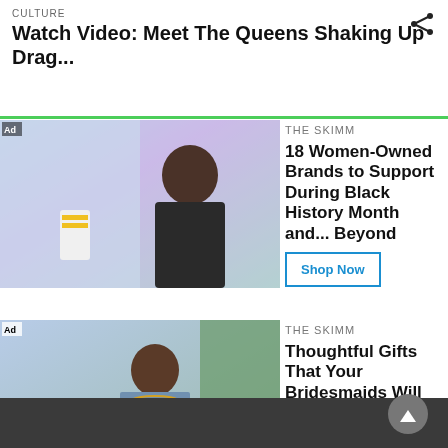CULTURE
Watch Video: Meet The Queens Shaking Up Drag...
[Figure (photo): Woman with short dark hair near colorful holographic background holding a product]
THE SKIMM
18 Women-Owned Brands to Support During Black History Month and... Beyond
[Figure (photo): Woman wearing gold chain necklaces in blue floral outfit near greenery]
THE SKIMM
Thoughtful Gifts That Your Bridesmaids Will Love